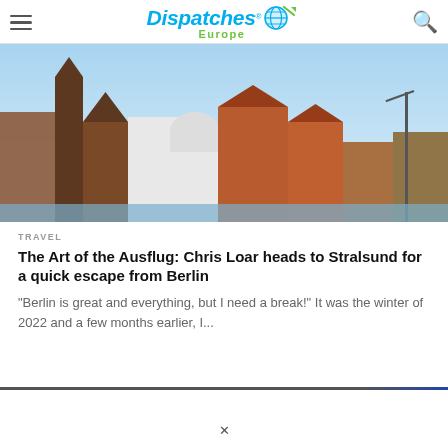Dispatches® Europe
[Figure (photo): Panoramic view of Stralsund waterfront showing historic brick buildings including a Gothic church, modern white museum building, and harbor with masts against a blue sky.]
TRAVEL
The Art of the Ausflug: Chris Loar heads to Stralsund for a quick escape from Berlin
“Berlin is great and everything, but I need a break!” It was the winter of 2022 and a few months earlier, I...